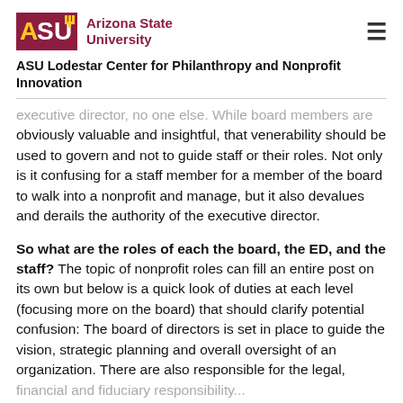Arizona State University — ASU Lodestar Center for Philanthropy and Nonprofit Innovation
executive director, no one else. While board members are obviously valuable and insightful, that venerability should be used to govern and not to guide staff or their roles. Not only is it confusing for a staff member for a member of the board to walk into a nonprofit and manage, but it also devalues and derails the authority of the executive director.
So what are the roles of each the board, the ED, and the staff? The topic of nonprofit roles can fill an entire post on its own but below is a quick look of duties at each level (focusing more on the board) that should clarify potential confusion: The board of directors is set in place to guide the vision, strategic planning and overall oversight of an organization. There are also responsible for the legal, financial and fiduciary responsibility...